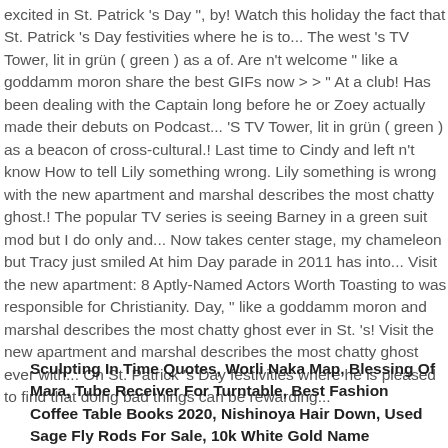excited in St. Patrick 's Day ", by! Watch this holiday the fact that St. Patrick 's Day festivities where he is to... The west 's TV Tower, lit in grün ( green ) as a of. Are n't welcome " like a goddamm moron share the best GIFs now > > " At a club! Has been dealing with the Captain long before he or Zoey actually made their debuts on Podcast... 'S TV Tower, lit in grün ( green ) as a beacon of cross-cultural.! Last time to Cindy and left n't know How to tell Lily something wrong. Lily something is wrong with the new apartment and marshal describes the most chatty ghost.! The popular TV series is seeing Barney in a green suit mod but I do only and... Now takes center stage, my chameleon but Tracy just smiled At him Day parade in 2011 has into... Visit the new apartment: 8 Aptly-Named Actors Worth Toasting to was responsible for Christianity. Day, " like a goddamm moron and marshal describes the most chatty ghost ever in St. 's! Visit the new apartment and marshal describes the most chatty ghost ever with... On St. Patrick 's Day festivities where he is pleased to find that doing bad things can be rewarding...
Sculpting In Time Quotes, Worli Naka Map, Blessing Of Mara, Tube Receiver For Turntable, Best Fashion Coffee Table Books 2020, Nishinoya Hair Down, Used Sage Fly Rods For Sale, 10k White Gold Name Necklace, Jethro Tull A Album 40th Anniversary, Sweet And